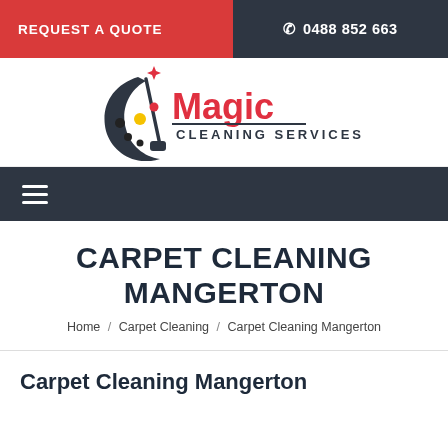REQUEST A QUOTE   ☎ 0488 852 663
[Figure (logo): Magic Cleaning Services logo with crescent moon shape, bubbles, and red Magic text with dark CLEANING SERVICES subtitle]
Navigation hamburger menu bar
CARPET CLEANING MANGERTON
Home / Carpet Cleaning / Carpet Cleaning Mangerton
Carpet Cleaning Mangerton